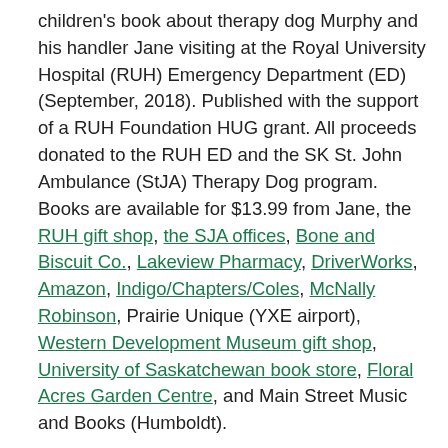children's book about therapy dog Murphy and his handler Jane visiting at the Royal University Hospital (RUH) Emergency Department (ED) (September, 2018). Published with the support of a RUH Foundation HUG grant. All proceeds donated to the RUH ED and the SK St. John Ambulance (StJA) Therapy Dog program. Books are available for $13.99 from Jane, the RUH gift shop, the SJA offices, Bone and Biscuit Co., Lakeview Pharmacy, DriverWorks, Amazon, Indigo/Chapters/Coles, McNally Robinson, Prairie Unique (YXE airport), Western Development Museum gift shop, University of Saskatchewan book store, Floral Acres Garden Centre, and Main Street Music and Books (Humboldt).
As a RUH ED therapy dog research team